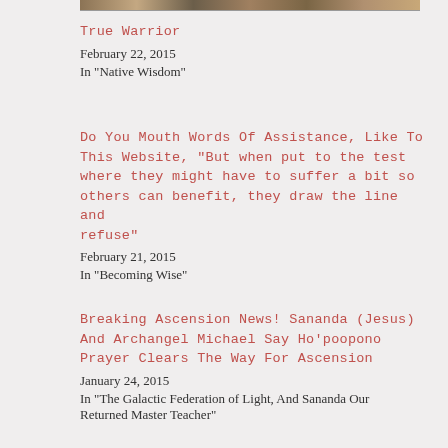[Figure (photo): Partial image strip visible at top of page]
True Warrior
February 22, 2015
In "Native Wisdom"
Do You Mouth Words Of Assistance, Like To This Website, “But when put to the test where they might have to suffer a bit so others can benefit, they draw the line and refuse”
February 21, 2015
In "Becoming Wise"
Breaking Ascension News! Sananda (Jesus) And Archangel Michael Say Ho’poopono Prayer Clears The Way For Ascension
January 24, 2015
In "The Galactic Federation of Light, And Sananda Our Returned Master Teacher"